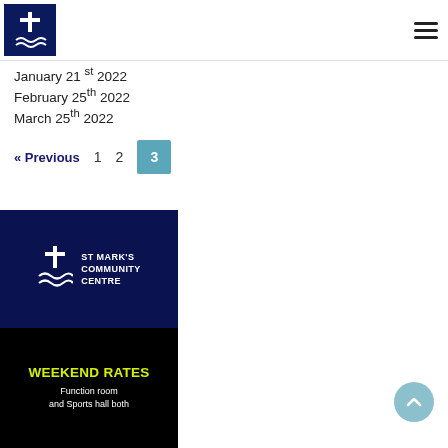[Figure (logo): St Mark's Community Centre logo — dark navy square with white cross and waves icon]
January 21 st 2022
February 25th 2022
March 25th 2022
« Previous  1  2  3
[Figure (infographic): St Mark's Community Centre promotional banner showing navy top section with white cross logo and 'ST MARK'S COMMUNITY CENTRE' text, and black bottom section with yellow 'WEEKEND RATES' heading and white 'Function room and Sports hall both' text]